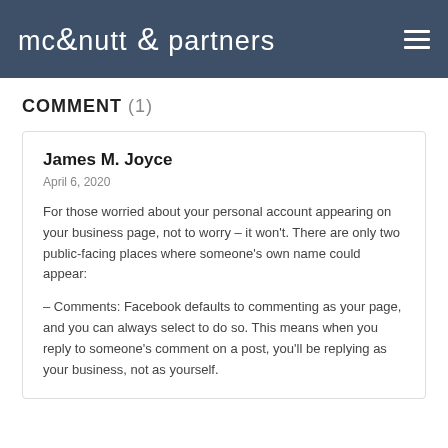mcnutt & partners
COMMENT (1)
James M. Joyce
April 6, 2020
For those worried about your personal account appearing on your business page, not to worry – it won't. There are only two public-facing places where someone's own name could appear:
– Comments: Facebook defaults to commenting as your page, and you can always select to do so. This means when you reply to someone's comment on a post, you'll be replying as your business, not as yourself.